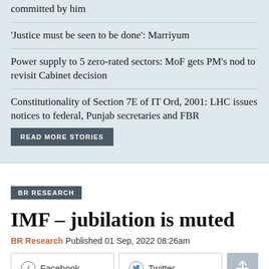committed by him
'Justice must be seen to be done': Marriyum
Power supply to 5 zero-rated sectors: MoF gets PM's nod to revisit Cabinet decision
Constitutionality of Section 7E of IT Ord, 2001: LHC issues notices to federal, Punjab secretaries and FBR
READ MORE STORIES
BR RESEARCH
IMF – jubilation is muted
BR Research Published 01 Sep, 2022 08:26am
Facebook
Twitter